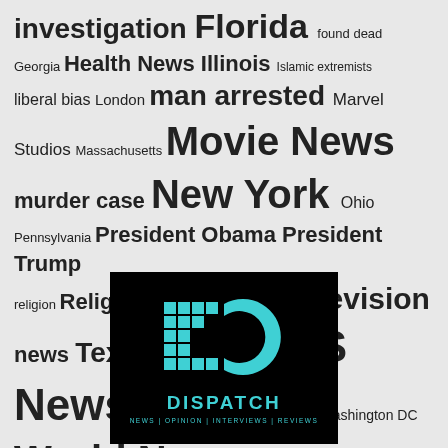[Figure (other): Tag cloud with news-related keywords in varying font sizes. Keywords include: investigation, Florida, found dead, Georgia, Health News, Illinois, Islamic extremists, liberal bias, London, man arrested, Marvel Studios, Massachusetts, Movie News, murder case, New York, Ohio, Pennsylvania, President Obama, President Trump, religion, Religion News, Technology, Television news, Texas, United Kingdom, US News, Washington, Washington DC, World News.]
[Figure (logo): Dispatch logo on black background with teal/cyan D letter made of squares and a C-shape, text DISPATCH in teal bold letters, subtitle NEWS | OPINION | INTERVIEWS | REVIEWS in teal small caps.]